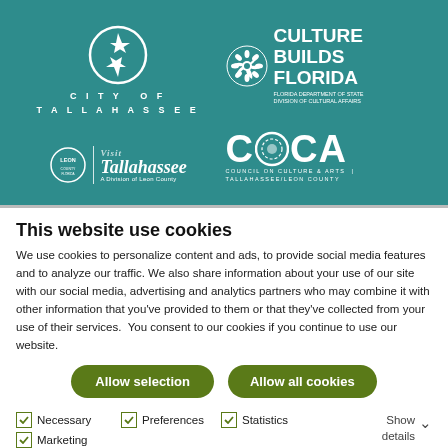[Figure (logo): Teal banner with four logos: City of Tallahassee (top left), Culture Builds Florida (top right), Visit Tallahassee/Leon County (bottom left), Council on Culture & Arts COCA (bottom right)]
This website use cookies
We use cookies to personalize content and ads, to provide social media features and to analyze our traffic. We also share information about your use of our site with our social media, advertising and analytics partners who may combine it with other information that you've provided to them or that they've collected from your use of their services.  You consent to our cookies if you continue to use our website.
Allow selection
Allow all cookies
Necessary  Preferences  Statistics  Marketing  Show details